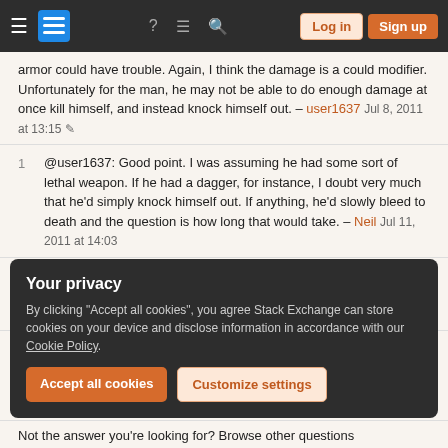Stack Exchange navigation bar with Log in and Sign up buttons
armor could have trouble. Again, I think the damage is a could modifier. Unfortunately for the man, he may not be able to do enough damage at once kill himself, and instead knock himself out. – user1637 Jul 8, 2011 at 13:15
@user1637: Good point. I was assuming he had some sort of lethal weapon. If he had a dagger, for instance, I doubt very much that he'd simply knock himself out. If anything, he'd slowly bleed to death and the question is how long that would take. – Neil Jul 11, 2011 at 14:03
It also really depends on the weapon. A dagger would be handy; a short sword could probably get the job done with little fuss; attacking yourself with a flail is kind of
Your privacy
By clicking "Accept all cookies", you agree Stack Exchange can store cookies on your device and disclose information in accordance with our Cookie Policy.
Accept all cookies
Customize settings
Not the answer you're looking for? Browse other questions